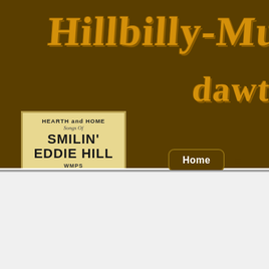[Figure (screenshot): Hillbilly-Music website header banner with dark brown background, large orange/gold pixelated 'Hillbilly-Mus' text and 'dawt c' partially visible, with an album cover for 'Hearth and Home: Songs of Smilin' Eddie Hill, WMPS Memphis, Tenn, Price $1.00' featuring a guitar illustration]
Home ≡
Zora Layman